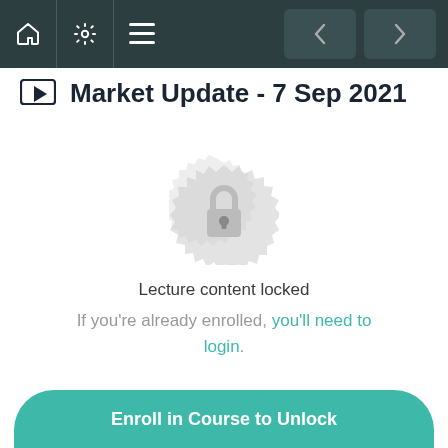Navigation bar with home, settings, menu icons and back/forward buttons
Market Update - 7 Sep 2021
[Figure (illustration): A locked padlock icon centered within a decorative circular badge/seal shape, rendered in light grey, indicating locked content]
Lecture content locked
If you're already enrolled, you'll need to login.
Enroll in Course to Unlock